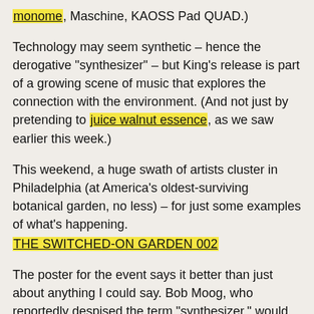monome, Maschine, KAOSS Pad QUAD.)
Technology may seem synthetic – hence the derogative "synthesizer" – but King's release is part of a growing scene of music that explores the connection with the environment. (And not just by pretending to juice walnut essence, as we saw earlier this week.)
This weekend, a huge swath of artists cluster in Philadelphia (at America's oldest-surviving botanical garden, no less) – for just some examples of what's happening.
THE SWITCHED-ON GARDEN 002
The poster for the event says it better than just about anything I could say. Bob Moog, who reportedly despised the term "synthesizer," would no doubt be proud.